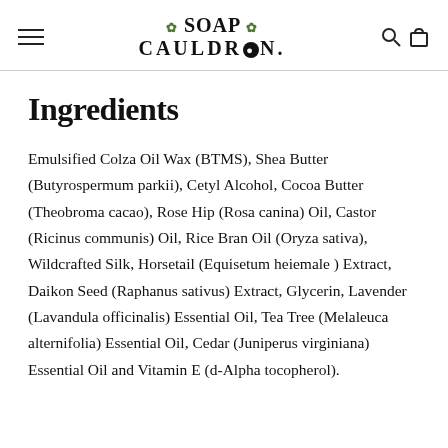Soap Cauldron (logo with hamburger menu, search, and cart icons)
Ingredients
Emulsified Colza Oil Wax (BTMS), Shea Butter (Butyrospermum parkii), Cetyl Alcohol, Cocoa Butter (Theobroma cacao), Rose Hip (Rosa canina) Oil, Castor (Ricinus communis) Oil, Rice Bran Oil (Oryza sativa), Wildcrafted Silk, Horsetail (Equisetum heiemale ) Extract, Daikon Seed (Raphanus sativus) Extract, Glycerin, Lavender (Lavandula officinalis) Essential Oil, Tea Tree (Melaleuca alternifolia) Essential Oil, Cedar (Juniperus virginiana) Essential Oil and Vitamin E (d-Alpha tocopherol).